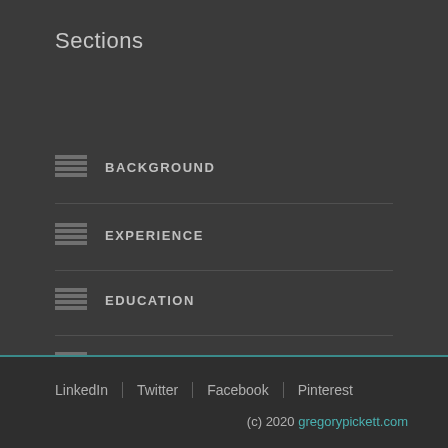Sections
BACKGROUND
EXPERIENCE
EDUCATION
TECHNICAL
FREELANCE
LinkedIn | Twitter | Facebook | Pinterest  (c) 2020 gregorypickett.com